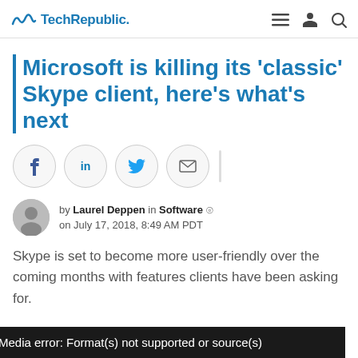TechRepublic.
Microsoft is killing its ‘classic’ Skype client, here’s what’s next
[Figure (infographic): Social sharing buttons: Facebook, LinkedIn, Twitter, Email]
by Laurel Deppen in Software on July 17, 2018, 8:49 AM PDT
Skype is set to become more user-friendly over the coming months with features clients have been asking for.
Media error: Format(s) not supported or source(s)